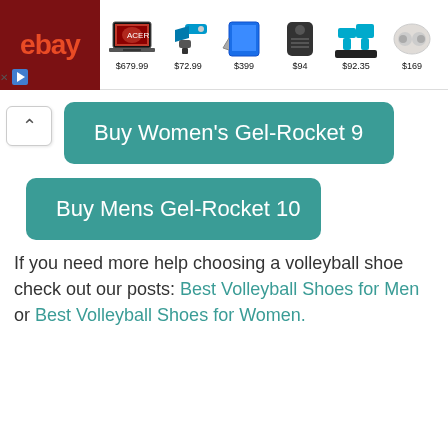[Figure (screenshot): eBay advertisement banner showing laptop ($679.99), power tool ($72.99), tablet ($399), speaker ($94), drill kit ($92.35), earbuds ($169)]
Buy Women's Gel-Rocket 9
Buy Mens Gel-Rocket 10
If you need more help choosing a volleyball shoe check out our posts: Best Volleyball Shoes for Men or Best Volleyball Shoes for Women.